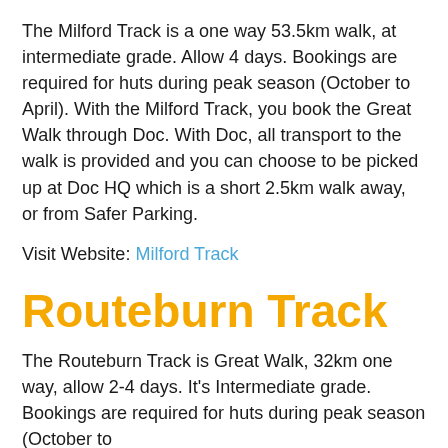The Milford Track is a one way 53.5km walk, at intermediate grade. Allow 4 days. Bookings are required for huts during peak season (October to April). With the Milford Track, you book the Great Walk through Doc. With Doc, all transport to the walk is provided and you can choose to be picked up at Doc HQ which is a short 2.5km walk away, or from Safer Parking.
Visit Website: Milford Track
Routeburn Track
The Routeburn Track is Great Walk, 32km one way, allow 2-4 days. It's Intermediate grade. Bookings are required for huts during peak season (October to